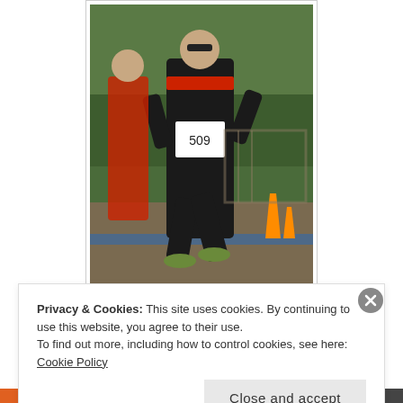[Figure (photo): A runner wearing a black and red outfit with race bib number, running on a trail course with orange traffic cones visible in the background. Another runner in red is partially visible on the left.]
Drew still looking strong on the run.
[Figure (other): An advertisement banner showing a dark navy/black rectangular graphic with partial text visible.]
REPORT THIS AD
Privacy & Cookies: This site uses cookies. By continuing to use this website, you agree to their use.
To find out more, including how to control cookies, see here: Cookie Policy
Close and accept